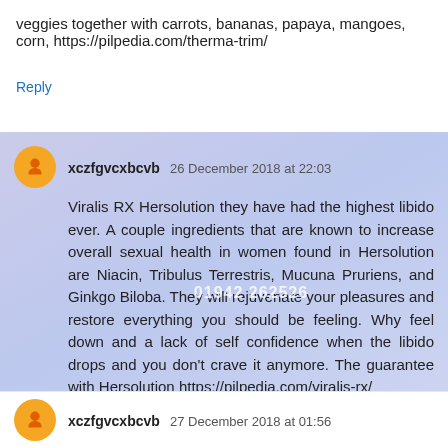veggies together with carrots, bananas, papaya, mangoes, corn, https://pilpedia.com/therma-trim/
Reply
xczfgvcxbcvb 26 December 2018 at 22:03
Viralis RX Hersolution they have had the highest libido ever. A couple ingredients that are known to increase overall sexual health in women found in Hersolution are Niacin, Tribulus Terrestris, Mucuna Pruriens, and Ginkgo Biloba. They will rejuvenate your pleasures and restore everything you should be feeling. Why feel down and a lack of self confidence when the libido drops and you don't crave it anymore. The guarantee with Hersolution https://pilpedia.com/viralis-rx/
Reply
xczfgvcxbcvb 27 December 2018 at 01:56